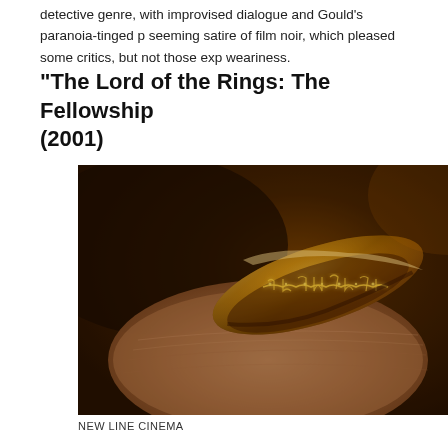detective genre, with improvised dialogue and Gould's paranoia-tinged p seeming satire of film noir, which pleased some critics, but not those exp weariness.
“The Lord of the Rings: The Fellowship (2001)
[Figure (photo): Close-up photograph of a golden ring with Elvish script engravings being held between fingers, with warm amber/brown tones. From The Lord of the Rings film.]
NEW LINE CINEMA